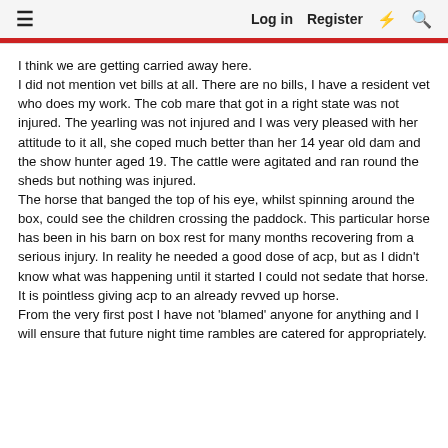Log in  Register
I think we are getting carried away here.
I did not mention vet bills at all. There are no bills, I have a resident vet who does my work. The cob mare that got in a right state was not injured. The yearling was not injured and I was very pleased with her attitude to it all, she coped much better than her 14 year old dam and the show hunter aged 19. The cattle were agitated and ran round the sheds but nothing was injured.
The horse that banged the top of his eye, whilst spinning around the box, could see the children crossing the paddock. This particular horse has been in his barn on box rest for many months recovering from a serious injury. In reality he needed a good dose of acp, but as I didn't know what was happening until it started I could not sedate that horse. It is pointless giving acp to an already revved up horse.
From the very first post I have not 'blamed' anyone for anything and I will ensure that future night time rambles are catered for appropriately.